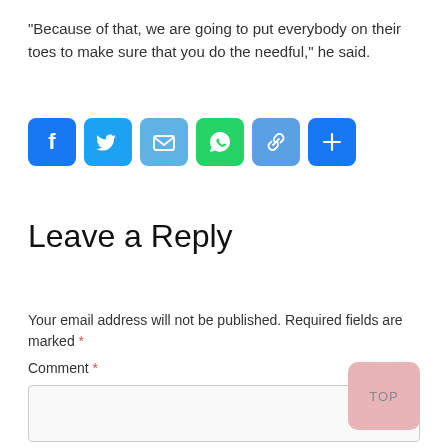“Because of that, we are going to put everybody on their toes to make sure that you do the needful,” he said.
[Figure (other): Social sharing icons: Facebook, Twitter, Email, WhatsApp, Copy Link, More]
Leave a Reply
Your email address will not be published. Required fields are marked *
Comment *